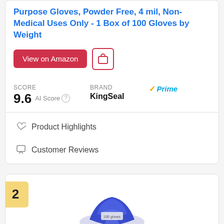Purpose Gloves, Powder Free, 4 mil, Non-Medical Uses Only - 1 Box of 100 Gloves by Weight
View on Amazon
SCORE
9.6 AI Score
Brand
KingSeal
✓Prime
Product Highlights
Customer Reviews
2